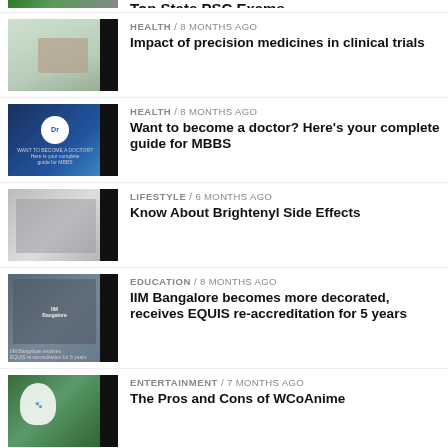[Figure (photo): Partial top banner with green and grey background - cropped article thumbnail]
Top State PSC Exams
[Figure (photo): Person in white shirt sitting, health related photo]
HEALTH / 8 months ago
Impact of precision medicines in clinical trials
[Figure (photo): Doctor cartoon illustration with text about MBBS guide, dark blue background]
HEALTH / 8 months ago
Want to become a doctor? Here's your complete guide for MBBS
[Figure (photo): Blurry nature/outdoor photo]
LIFESTYLE / 6 months ago
Know About Brightenyl Side Effects
[Figure (photo): IIM Bangalore building exterior]
EDUCATION / 8 months ago
IIM Bangalore becomes more decorated, receives EQUIS re-accreditation for 5 years
[Figure (photo): Anime character with white hair in outdoor setting]
ENTERTAINMENT / 7 months ago
The Pros and Cons of WCoAnime
[Figure (photo): Bowl of dal makhani soup]
HEALTH / 7 months ago
How to Lower Dal Makhani Calories